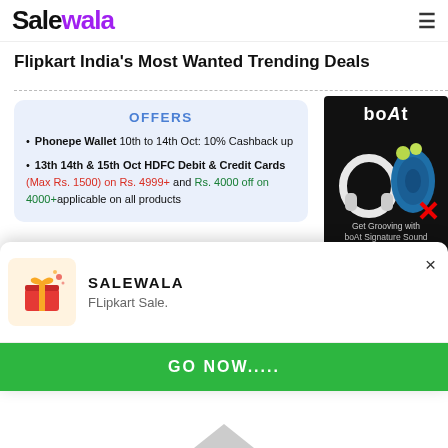SaleWala
Flipkart India's Most Wanted Trending Deals
OFFERS
Phonepe Wallet 10th to 14th Oct: 10% Cashback up
13th 14th & 15th Oct HDFC Debit & Credit Cards (Max Rs. 1500) on Rs. 4999+ and Rs. 4000 off on 4000+applicable on all products
[Figure (advertisement): boAt audio products advertisement with headphones and speaker on dark background. Text: boAt, Get Grooving with boAt Signature Sound, Shop Now]
Don't Miss Flipkart Best selling trending deals. Free Shipping for Flipkart Plus Members
[Figure (screenshot): SALEWALA app install popup with gift icon, subtitle FLipkart Sale., close button X, and green GO NOW..... button]
[Figure (illustration): Upward pointing arrow at bottom of page]